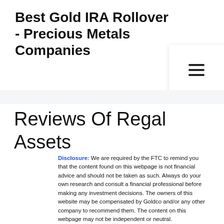Best Gold IRA Rollover - Precious Metals Companies
Reviews Of Regal Assets
Disclosure: We are required by the FTC to remind you that the content found on this webpage is not financial advice and should not be taken as such. Always do your own research and consult a financial professional before making any investment decisions. The owners of this website may be compensated by Goldco and/or any other company to recommend them. The content on this webpage may not be independent or neutral.